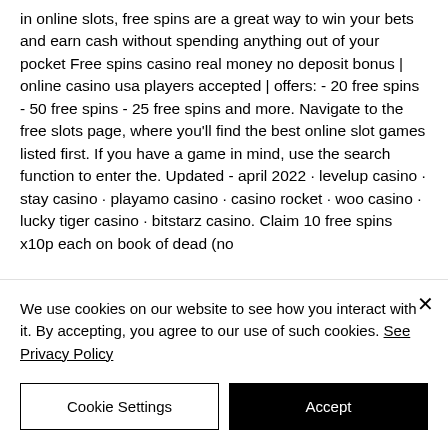in online slots, free spins are a great way to win your bets and earn cash without spending anything out of your pocket Free spins casino real money no deposit bonus | online casino usa players accepted | offers: - 20 free spins - 50 free spins - 25 free spins and more. Navigate to the free slots page, where you'll find the best online slot games listed first. If you have a game in mind, use the search function to enter the. Updated - april 2022 · levelup casino · stay casino · playamo casino · casino rocket · woo casino · lucky tiger casino · bitstarz casino. Claim 10 free spins x10p each on book of dead (no
We use cookies on our website to see how you interact with it. By accepting, you agree to our use of such cookies. See Privacy Policy